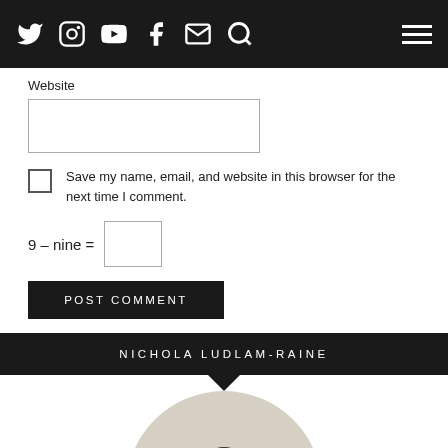Twitter Instagram YouTube Facebook Email Search | Menu
Website
Save my name, email, and website in this browser for the next time I comment.
POST COMMENT
NICHOLA LUDLAM-RAINE
[Figure (photo): Circular portrait photo of Nichola Ludlam-Raine, showing a woman with dark hair from the shoulders up, partially visible at the bottom of the page]